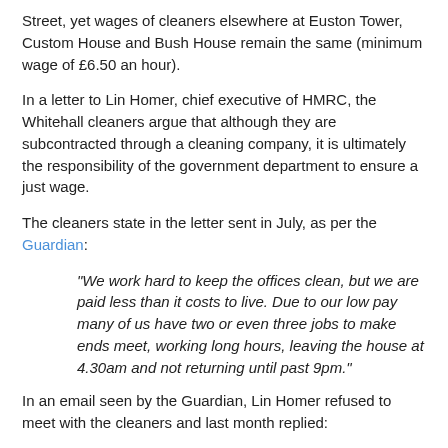Street, yet wages of cleaners elsewhere at Euston Tower, Custom House and Bush House remain the same (minimum wage of £6.50 an hour).
In a letter to Lin Homer, chief executive of HMRC, the Whitehall cleaners argue that although they are subcontracted through a cleaning company, it is ultimately the responsibility of the government department to ensure a just wage.
The cleaners state in the letter sent in July, as per the Guardian:
"We work hard to keep the offices clean, but we are paid less than it costs to live. Due to our low pay many of us have two or even three jobs to make ends meet, working long hours, leaving the house at 4.30am and not returning until past 9pm."
In an email seen by the Guardian, Lin Homer refused to meet with the cleaners and last month replied: